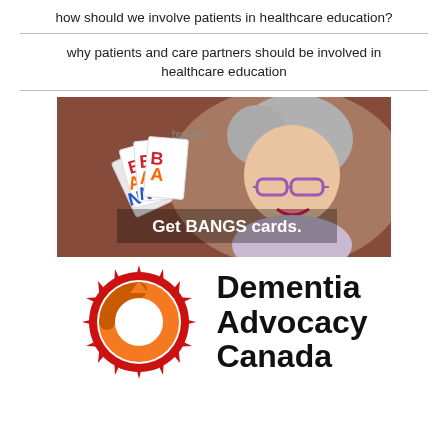how should we involve patients in healthcare education?
why patients and care partners should be involved in healthcare education
[Figure (photo): A smiling woman with short grey hair and purple glasses holding up a fan of BANGS cards. White overlay text reads 'Get BANGS cards.']
[Figure (logo): Dementia Advocacy Canada logo: a red maple leaf sunburst surrounding an orange circular arrow symbol, next to the text 'Dementia Advocacy Canada' in bold black.]